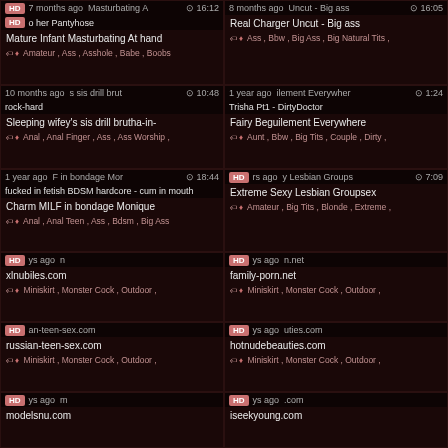7 months ago | Masturbating A | 16:12 | HD | o her Pantyhose
Mature Infant Masturbating At hand
Amateur, Ass, Asshole, Babe, Boobs
8 months ago | Uncut - Big ass | 16:05 | Real Charger Uncut - Big ass
Ass, Bbw, Big Ass, Big Natural Tits,
10 months ago | s sis drill brut | 10:48 | rock-hard
Sleeping wifey's sis drill brutha-in-
Anal, Anal Finger, Ass, Ass Worship,
1 year ago | ilement Everywhere | 1:24 | Trisha Pt1 - DirtyDoctor
Fairy Beguilement Everywhere
Aunt, Bbw, Big Tits, Couple, Dirty,
1 year ago | F in bondage Mor | 18:44 | fucked in fetish BDSM hardcore - cum in mouth
Charm MILF in bondage Monique
Anal, Anal Teen, Ass, Bdsm, Big Ass
HD | rs ago | y Lesbian Groups | 7:09 | Extreme Sexy Lesbian Groupsex
Amateur, Big Tits, Blonde, Extreme,
HD | ys ago | n | xlnubiles.com
Miniskirt, Monster Cock, Outdoor,
HD | ys ago | n.net | family-porn.net
Miniskirt, Monster Cock, Outdoor,
HD | an-teen-sex.com | russian-teen-sex.com
Miniskirt, Monster Cock, Outdoor,
HD | ys ago | uties.com | hotnudebeauties.com
Miniskirt, Monster Cock, Outdoor,
HD | ys ago | m | modelsnu.com
HD | ys ago | .com | iseekyoung.com